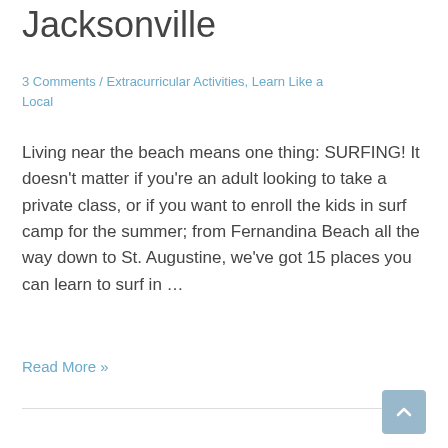Jacksonville
3 Comments / Extracurricular Activities, Learn Like a Local
Living near the beach means one thing: SURFING! It doesn't matter if you're an adult looking to take a private class, or if you want to enroll the kids in surf camp for the summer; from Fernandina Beach all the way down to St. Augustine, we've got 15 places you can learn to surf in …
Read More »